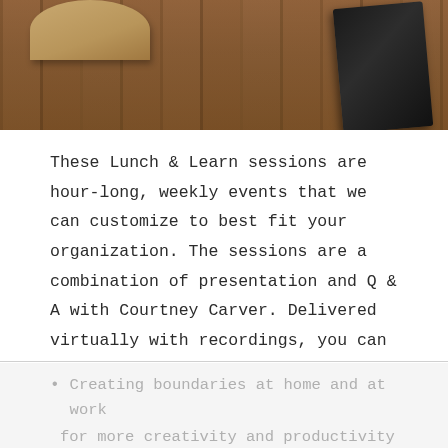[Figure (photo): Photo of wooden table surface with a hat and a dark tablet/device visible, shot from above]
These Lunch & Learn sessions are hour-long, weekly events that we can customize to best fit your organization. The sessions are a combination of presentation and Q & A with Courtney Carver. Delivered virtually with recordings, you can invite your entire team for a session on a variety of topics including:
Simplifying for better health and wellness.
Creating boundaries at home and at work
for more creativity and productivity